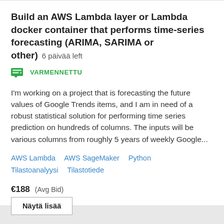Build an AWS Lambda layer or Lambda docker container that performs time-series forecasting (ARIMA, SARIMA or other)  6 päivää left
VARMENNETTU
I'm working on a project that is forecasting the future values of Google Trends items, and I am in need of a robust statistical solution for performing time series prediction on hundreds of columns. The inputs will be various columns from roughly 5 years of weekly Google...
AWS Lambda   AWS SageMaker   Python   Tilastoanalyysi   Tilastotiede
€188  (Avg Bid)
Näytä lisää